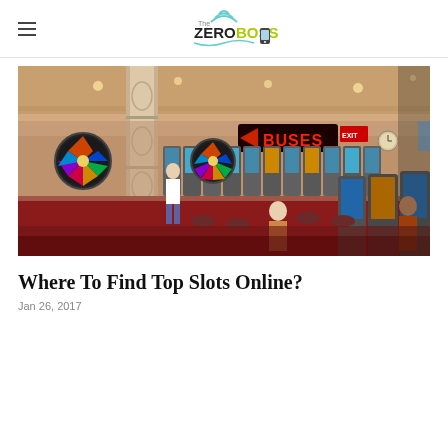The ZeroBoss
[Figure (photo): Interior of a casino floor with rows of slot machines including wheel-of-fortune style games, players seated and standing, ornate columns, red patterned carpet, and a neon 'BUSES' sign in the background.]
Where To Find Top Slots Online?
Jan 26, 2017